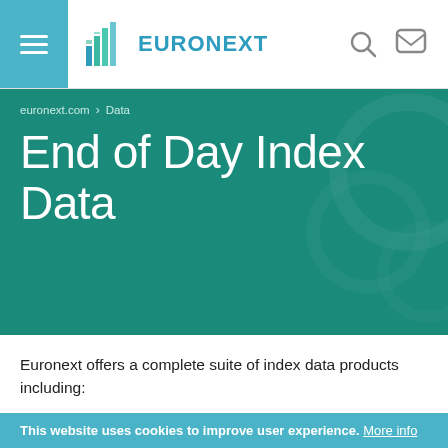EURONEXT
euronext.com > Data
End of Day Index Data
Euronext offers a complete suite of index data products including:
Current and historical detailed index composition
This website uses cookies to improve user experience. More info